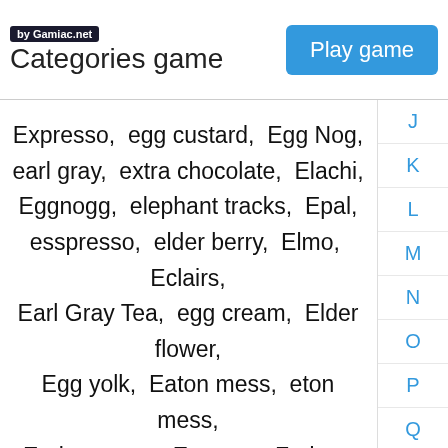by Gamiac.net — Categories game — Play game
Expresso,  egg custard,  Egg Nog,  earl gray,  extra chocolate,  Elachi,  Eggnogg,  elephant tracks,  Epal,  esspresso,  elder berry,  Elmo,  Eclairs,  Earl Gray Tea,  egg cream,  Elder flower,  Egg yolk,  Eaton mess,  eton mess,  Earl grey tea,  Espresso Fudge,  eclare,
J
K
L
M
N
O
P
Q
R
S
T